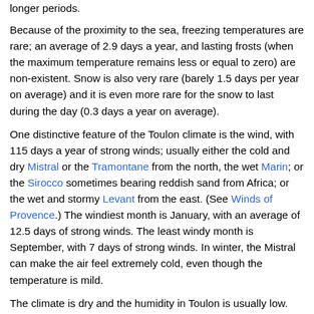longer periods.
Because of the proximity to the sea, freezing temperatures are rare; an average of 2.9 days a year, and lasting frosts (when the maximum temperature remains less or equal to zero) are non-existent. Snow is also very rare (barely 1.5 days per year on average) and it is even more rare for the snow to last during the day (0.3 days a year on average).
One distinctive feature of the Toulon climate is the wind, with 115 days a year of strong winds; usually either the cold and dry Mistral or the Tramontane from the north, the wet Marin; or the Sirocco sometimes bearing reddish sand from Africa; or the wet and stormy Levant from the east. (See Winds of Provence.) The windiest month is January, with an average of 12.5 days of strong winds. The least windy month is September, with 7 days of strong winds. In winter, the Mistral can make the air feel extremely cold, even though the temperature is mild.
The climate is dry and the humidity in Toulon is usually low. The average humidity is 56 percent, with little variation throughout the year; the driest months are July and August with 50 percent, and the most humid months are November and December with 60...